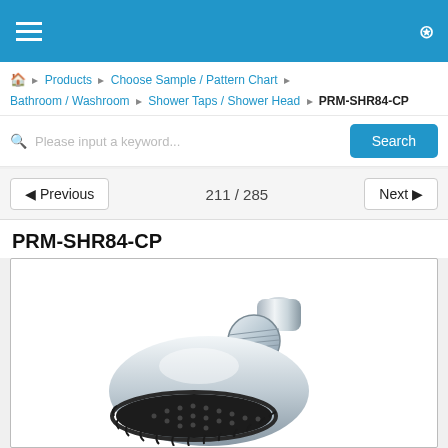Navigation bar with hamburger menu and bookmark icon
Products › Choose Sample / Pattern Chart › Bathroom / Washroom › Shower Taps / Shower Head › PRM-SHR84-CP
Please input a keyword... Search
◁ Previous   211 / 285   Next ▷
PRM-SHR84-CP
[Figure (photo): Chrome shower head product photo showing a round chrome showerhead with black spray face and adjustable ball joint connector, photographed at an angle on white background]